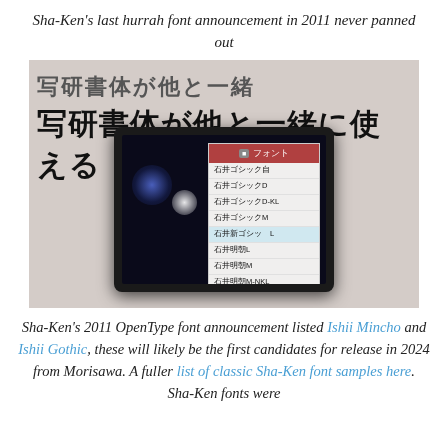Sha-Ken’s last hurrah font announcement in 2011 never panned out
[Figure (photo): Photo of a display booth showing Japanese text banner reading 写研書体が他と一緒に使える, with a monitor/tablet showing a font selection menu listing Ishii Gothic and Ishii Mincho font variants in Japanese]
Sha-Ken’s 2011 OpenType font announcement listed Ishii Mincho and Ishii Gothic, these will likely be the first candidates for release in 2024 from Morisawa. A fuller list of classic Sha-Ken font samples here. Sha-Ken fonts were